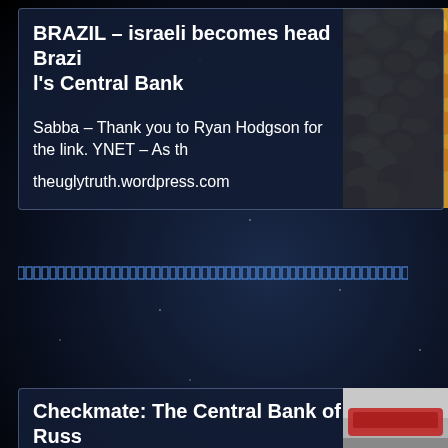BRAZIL – israeli becomes head Brazil's Central Bank
Sabba – Thank you to Ryan Hodgson for the link. YNET – As th
theuglytruth.wordpress.com
[Figure (photo): Close-up photograph of gold coins piled together]
[Figure (other): A row of small outlined rectangles forming a decorative separator line]
Checkmate: The Central Bank of Russ ia
[Figure (photo): Partial image of a red vehicle or aircraft, light gray background]